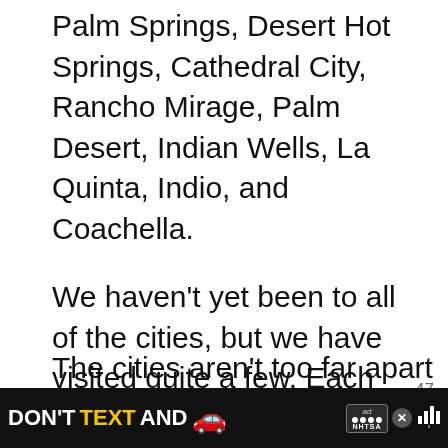Palm Springs, Desert Hot Springs, Cathedral City, Rancho Mirage, Palm Desert, Indian Wells, La Quinta, Indio, and Coachella.
We haven't yet been to all of the cities, but we have visited quite a few. Each one has lots of fun things to do, and we plan to cover the rest on future trips to the area!
The cities aren't too far apart so it's easy...
[Figure (other): UI elements: heart/like button (teal circle with heart icon), share count 47, share button (circle with share icon), What's Next widget showing thumbnail image and text '25 Best, Most Amazing...']
[Figure (other): Ad banner at bottom: 'DON'T TEXT AND' with car emoji, NHTSA logo, close button, mute button]